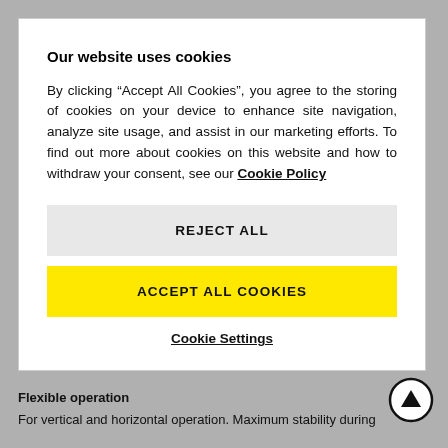Our website uses cookies
By clicking “Accept All Cookies”, you agree to the storing of cookies on your device to enhance site navigation, analyze site usage, and assist in our marketing efforts. To find out more about cookies on this website and how to withdraw your consent, see our Cookie Policy
REJECT ALL
ACCEPT ALL COOKIES
Cookie Settings
Flexible operation
For vertical and horizontal operation. Maximum stability during